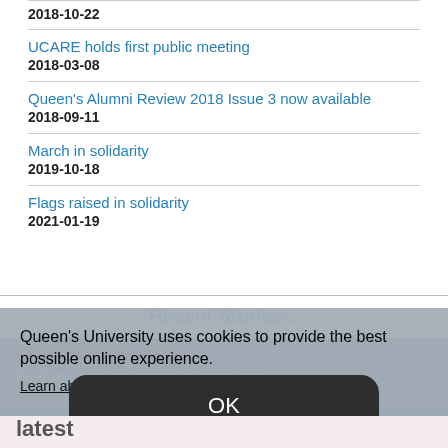UCARE holds first public meeting
2018-03-08
Queen's Alumni Review 2018 Issue 3 now available
2018-09-11
March in solidarity
2019-10-18
Flags raised in solidarity
2021-01-19
Recent Stories...
Queen's University uses cookies to provide the best possible online experience.
Learn about our privacy practices.
COVID-19 Information:
Find updates on campus guidelines
OK
latest